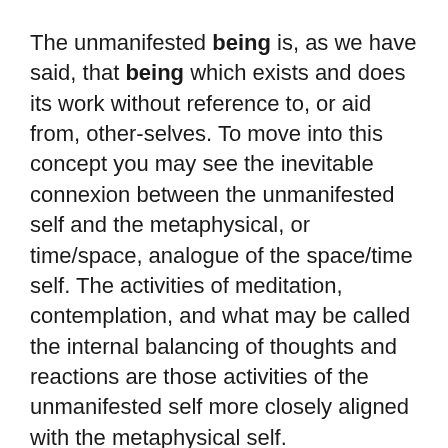The unmanifested being is, as we have said, that being which exists and does its work without reference to, or aid from, other-selves. To move into this concept you may see the inevitable connexion between the unmanifested self and the metaphysical, or time/space, analogue of the space/time self. The activities of meditation, contemplation, and what may be called the internal balancing of thoughts and reactions are those activities of the unmanifested self more closely aligned with the metaphysical self.
27.6 Questioner: I'd like to expand a little on the concept of work. In Newtonian physics the concept of work is what we call a force which moves through space. It's the product of force and distance as we measure it. I'm assuming that the work of which you speak is a much broader term including possibly work in consciousness. Am I correct?